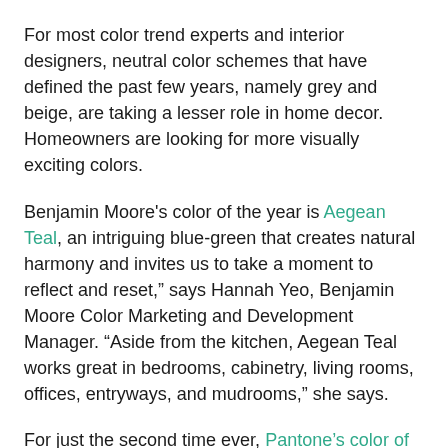For most color trend experts and interior designers, neutral color schemes that have defined the past few years, namely grey and beige, are taking a lesser role in home decor. Homeowners are looking for more visually exciting colors.
Benjamin Moore's color of the year is Aegean Teal, an intriguing blue-green that creates natural harmony and invites us to take a moment to reflect and reset," says Hannah Yeo, Benjamin Moore Color Marketing and Development Manager. "Aside from the kitchen, Aegean Teal works great in bedrooms, cabinetry, living rooms, offices, entryways, and mudrooms," she says.
For just the second time ever, Pantone's color of the year is actually two colors for 2021. Interestingly, they stuck with the color gray while most paint companies downplayed it, but added a brilliant yellow.PANTONE 17-5104 Ultimate Gray + PANTONE 13-0647